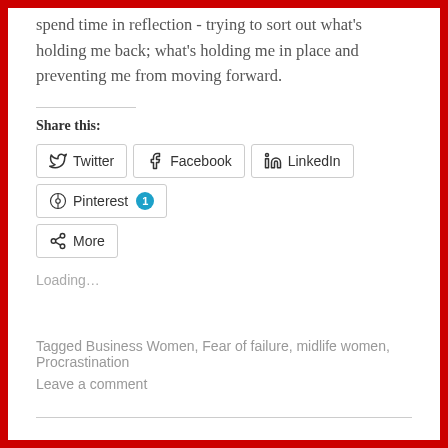spend time in reflection - trying to sort out what's holding me back; what's holding me in place and preventing me from moving forward.
Share this:
Twitter  Facebook  LinkedIn  Pinterest 1  More
Loading…
Tagged Business Women, Fear of failure, midlife women, Procrastination
Leave a comment